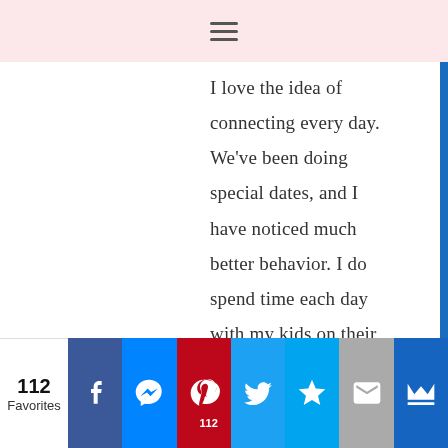≡
I love the idea of connecting every day. We've been doing special dates, and I have noticed much better behavior. I do spend time each day with my kids on their schoolwork, and reading time especially has become very special for my kids. I also have them help me with dishes or dinner, and we chat about what's going on with them at that time. So I guess it's not a super special or even
112 Favorites | Facebook | Messenger | Pinterest 112 | Twitter | Bookmark | Email | Crown